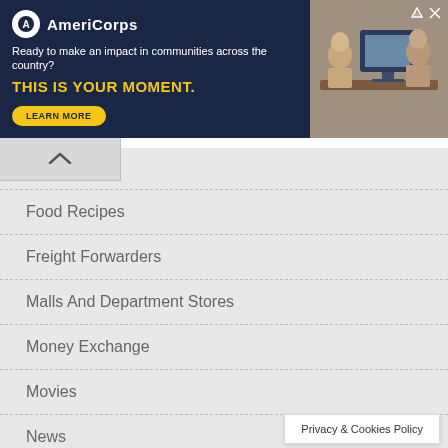[Figure (screenshot): AmeriCorps advertisement banner with dark navy background. Logo with white circle and 'A', brand name 'AmeriCorps', tagline 'Ready to make an impact in communities across the country?', slogan 'THIS IS YOUR MOMENT.' in gold, and LEARN MORE button. Right side shows image of people at computers.]
Festivals
Food Recipes
Freight Forwarders
Malls And Department Stores
Money Exchange
Movies
News
Pawnshops
Privacy & Cookies Policy